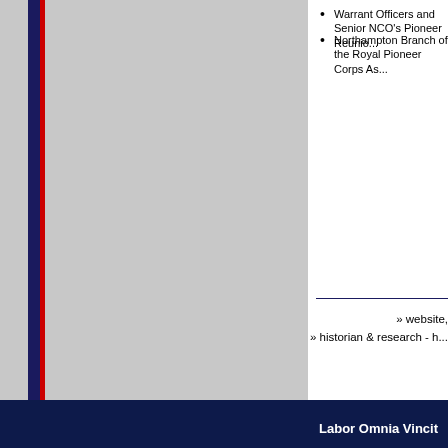Warrant Officers and Senior NCO's Pioneer Reunion
Northampton Branch of the Royal Pioneer Corps Association
» website,
» historian & research -
Good Morning and many thanks to all pioneers, relatives and everyone bringing memories and stories to the association
Labor Omnia Vincit